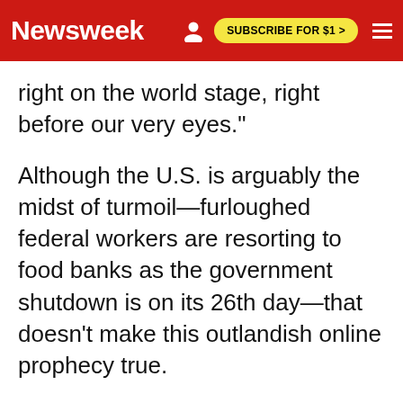Newsweek | SUBSCRIBE FOR $1 >
right on the world stage, right before our very eyes."
Although the U.S. is arguably the midst of turmoil—furloughed federal workers are resorting to food banks as the government shutdown is on its 26th day—that doesn't make this outlandish online prophecy true.